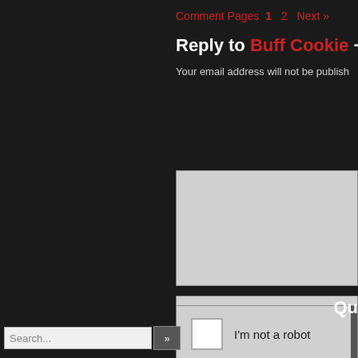Comment Pages 1 2 Next »
Reply to Buff Cookie ¬ Cancel
Your email address will not be published.
[Figure (screenshot): Comment reply form with textarea, three input fields, a CAPTCHA checkbox labeled I'm not a robot, and a Post Comment button]
Qu
[Figure (screenshot): Search bar with text field showing 'Search...' and a submit button with double chevron]